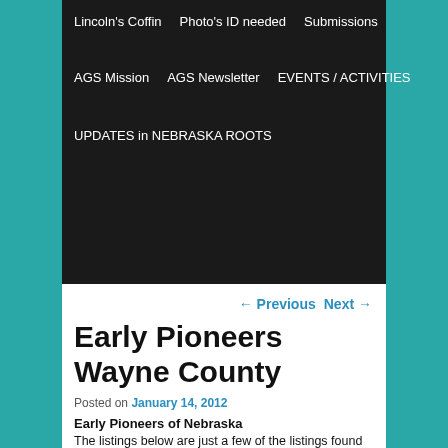Lincoln's Coffin   Photo's ID needed   Submissions
AGS Mission   AGS Newsletter   EVENTS / ACTIVITIES
UPDATES in NEBRASKA ROOTS
← Previous   Next →
Early Pioneers Wayne County
Posted on January 14, 2012
Early Pioneers of Nebraska
The listings below are just a few of the listings found in Early Pioneers of Nebraska with Allied Lines as taken from Family Recognition Records Volume 1, from the